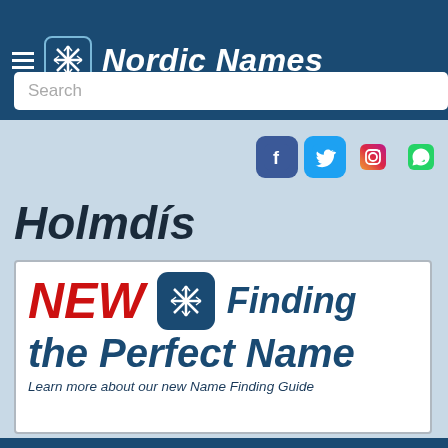Nordic Names
[Figure (screenshot): Search input box with placeholder text 'Search']
[Figure (infographic): Social media icons: Facebook, Twitter, Instagram, WhatsApp]
Holmdís
[Figure (infographic): Advertisement banner: NEW - Finding the Perfect Name. Learn more about our new Name Finding Guide]